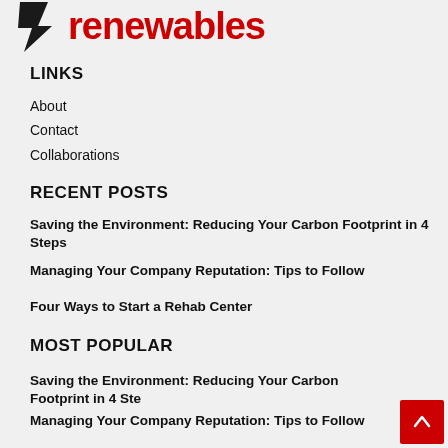[Figure (logo): Website logo with black arrow/lightning bolt icon and bold red text reading 'renewables']
LINKS
About
Contact
Collaborations
RECENT POSTS
Saving the Environment: Reducing Your Carbon Footprint in 4 Steps
Managing Your Company Reputation: Tips to Follow
Four Ways to Start a Rehab Center
MOST POPULAR
Saving the Environment: Reducing Your Carbon Footprint in 4 Ste…
Managing Your Company Reputation: Tips to Follow